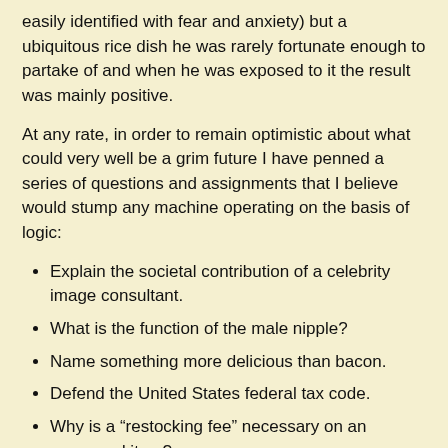easily identified with fear and anxiety) but a ubiquitous rice dish he was rarely fortunate enough to partake of and when he was exposed to it the result was mainly positive.
At any rate, in order to remain optimistic about what could very well be a grim future I have penned a series of questions and assignments that I believe would stump any machine operating on the basis of logic:
Explain the societal contribution of a celebrity image consultant.
What is the function of the male nipple?
Name something more delicious than bacon.
Defend the United States federal tax code.
Why is a “restocking fee” necessary on an unopened item?
How is it possible to clone an entire cow but I am still unable to purchase milk that lasts longer than ten days?